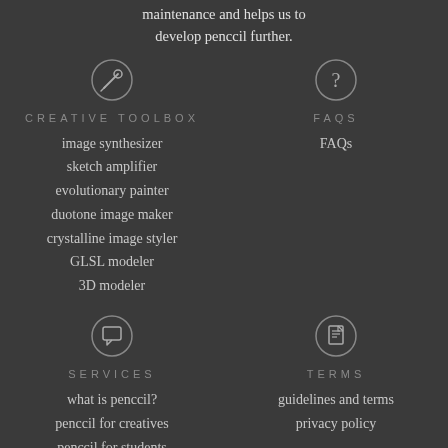maintenance and helps us to develop penccil further.
CREATIVE TOOLBOX
image synthesizer
sketch amplifier
evolutionary painter
duotone image maker
crystalline image styler
GLSL modeler
3D modeler
FAQS
FAQs
SERVICES
what is penccil?
penccil for creatives
penccil for students
penccil for galleries
TERMS
guidelines and terms
privacy policy